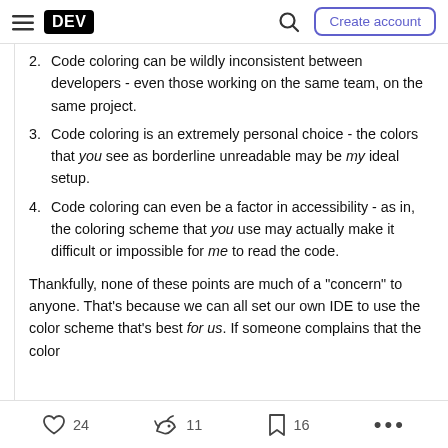DEV — Create account
2. Code coloring can be wildly inconsistent between developers - even those working on the same team, on the same project.
3. Code coloring is an extremely personal choice - the colors that you see as borderline unreadable may be my ideal setup.
4. Code coloring can even be a factor in accessibility - as in, the coloring scheme that you use may actually make it difficult or impossible for me to read the code.
Thankfully, none of these points are much of a "concern" to anyone. That's because we can all set our own IDE to use the color scheme that's best for us. If someone complains that the color
24  11  16  ...